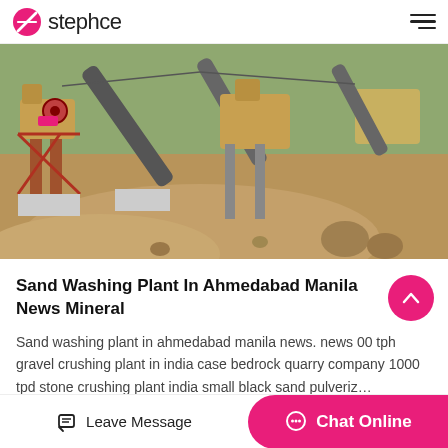stephce
[Figure (photo): Outdoor quarry/stone crushing plant with conveyor belts, red metal framework, concrete bases, and earthen mounds in foreground. Industrial machinery including crushers and conveyors visible against a hillside background.]
Sand Washing Plant In Ahmedabad Manila News Mineral
Sand washing plant in ahmedabad manila news. news 00 tph gravel crushing plant in india case bedrock quarry company 1000 tpd stone crushing plant india small black sand pulveriz…
Leave Message  Chat Online